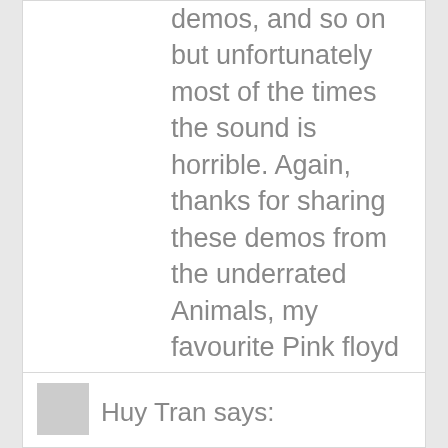demos, and so on but unfortunately most of the times the sound is horrible. Again, thanks for sharing these demos from the underrated Animals, my favourite Pink floyd album (and probably some of the finest guitar solos from Gilmour!).
Reply
Huy Tran says: